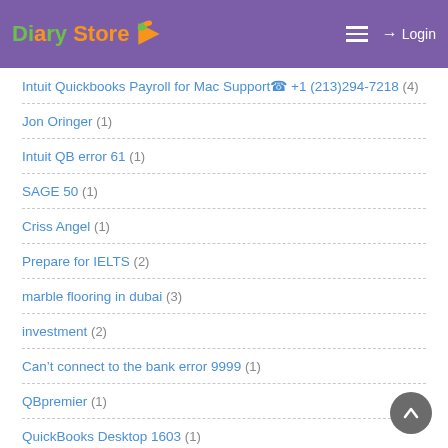Diary Store — Login
Intuit Quickbooks Payroll for Mac Support☎ +1 (213)294-7218 (4)
Jon Oringer (1)
Intuit QB error 61 (1)
SAGE 50 (1)
Criss Angel (1)
Prepare for IELTS (2)
marble flooring in dubai (3)
investment (2)
Can't connect to the bank error 9999 (1)
QBpremier (1)
QuickBooks Desktop 1603 (1)